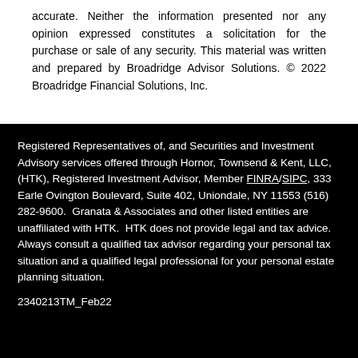accurate. Neither the information presented nor any opinion expressed constitutes a solicitation for the purchase or sale of any security. This material was written and prepared by Broadridge Advisor Solutions. © 2022 Broadridge Financial Solutions, Inc.
Registered Representatives of, and Securities and Investment Advisory services offered through Hornor, Townsend & Kent, LLC, (HTK), Registered Investment Advisor, Member FINRA/SIPC, 333 Earle Ovington Boulevard, Suite 402, Uniondale, NY 11553 (516) 282-9600.  Granata & Associates and other listed entities are unaffiliated with HTK.  HTK does not provide legal and tax advice. Always consult a qualified tax advisor regarding your personal tax situation and a qualified legal professional for your personal estate planning situation.
2340213TM_Feb22